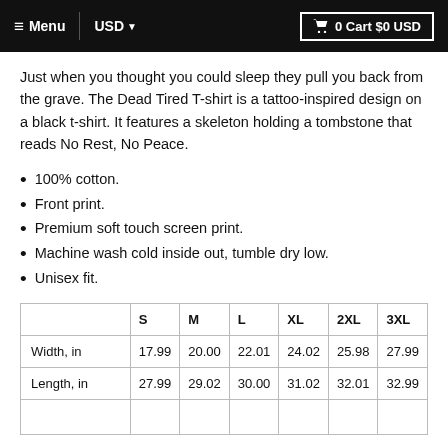≡ Menu  USD ▾    🛒 0 Cart $0 USD
Just when you thought you could sleep they pull you back from the grave. The Dead Tired T-shirt is a tattoo-inspired design on a black t-shirt. It features a skeleton holding a tombstone that reads No Rest, No Peace.
100% cotton.
Front print.
Premium soft touch screen print.
Machine wash cold inside out, tumble dry low.
Unisex fit.
|  | S | M | L | XL | 2XL | 3XL |
| --- | --- | --- | --- | --- | --- | --- |
| Width, in | 17.99 | 20.00 | 22.01 | 24.02 | 25.98 | 27.99 |
| Length, in | 27.99 | 29.02 | 30.00 | 31.02 | 32.01 | 32.99 |